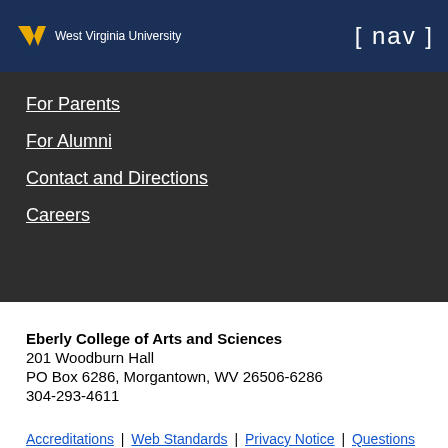West Virginia University [ nav ]
For Parents
For Alumni
Contact and Directions
Careers
Eberly College of Arts and Sciences
201 Woodburn Hall
PO Box 6286, Morgantown, WV 26506-6286
304-293-4611
Accreditations | Web Standards | Privacy Notice | Questions or Comments?